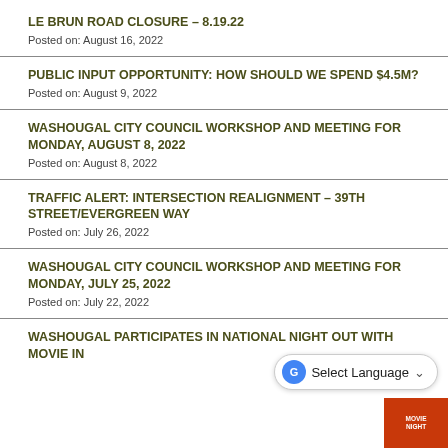LE BRUN ROAD CLOSURE – 8.19.22
Posted on: August 16, 2022
PUBLIC INPUT OPPORTUNITY: HOW SHOULD WE SPEND $4.5M?
Posted on: August 9, 2022
WASHOUGAL CITY COUNCIL WORKSHOP AND MEETING FOR MONDAY, AUGUST 8, 2022
Posted on: August 8, 2022
TRAFFIC ALERT: INTERSECTION REALIGNMENT – 39TH STREET/EVERGREEN WAY
Posted on: July 26, 2022
WASHOUGAL CITY COUNCIL WORKSHOP AND MEETING FOR MONDAY, JULY 25, 2022
Posted on: July 22, 2022
WASHOUGAL PARTICIPATES IN NATIONAL NIGHT OUT WITH MOVIE IN